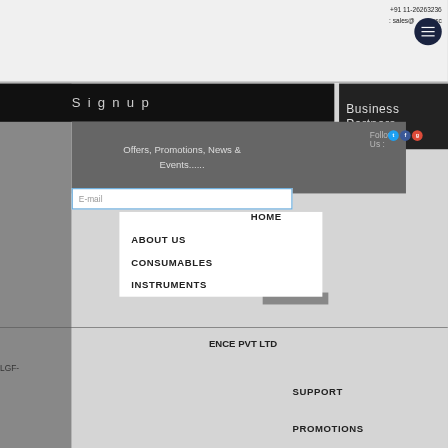+91 11-26263236 : sales@...ersc
Careers
Signup
Business Partners
Follow Us :
Offers, Promotions, News & Events......
E-mail
HOME
ABOUT US
CONSUMABLES
INSTRUMENTS
ENCE PVT LTD
LGF-
SUPPORT
PROMOTIONS